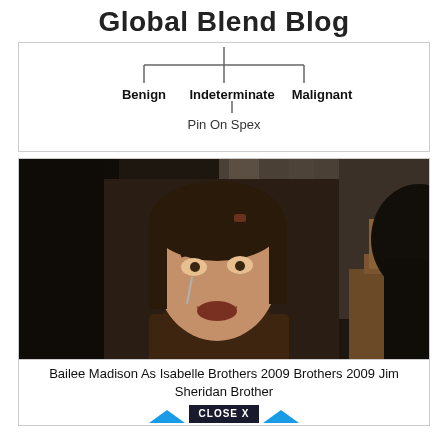Global Blend Blog
[Figure (organizational-chart): Partial organizational chart showing three branches labeled Benign, Indeterminate, and Malignant, with a caption 'Pin On Spex']
[Figure (photo): A young girl crying, wearing a brown sweater with a light blue collar, indoor setting with chairs and curtains in background]
Bailee Madison As Isabelle Brothers 2009 Brothers 2009 Jim Sheridan Brother